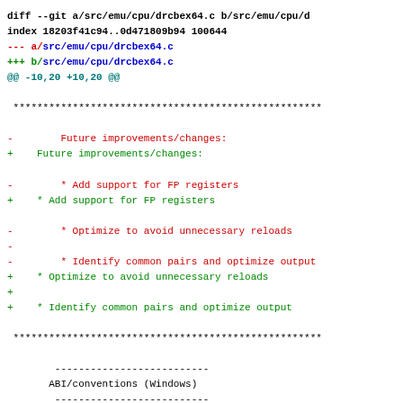diff --git a/src/emu/cpu/drcbex64.c b/src/emu/cpu/d
index 18203f41c94..0d471809b94 100644
--- a/src/emu/cpu/drcbex64.c
+++ b/src/emu/cpu/drcbex64.c
@@ -10,20 +10,20 @@

  ****************************************************

-        Future improvements/changes:
+    Future improvements/changes:

-        * Add support for FP registers
+    * Add support for FP registers

-        * Optimize to avoid unnecessary reloads
-
-        * Identify common pairs and optimize output
+    * Optimize to avoid unnecessary reloads
+
+    * Identify common pairs and optimize output

 ****************************************************

        --------------------------
       ABI/conventions (Windows)
        --------------------------
-
+

       Registers: